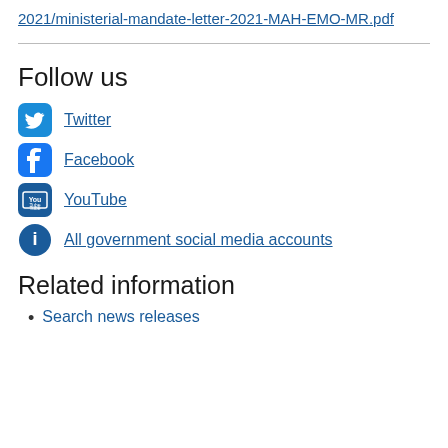2021/ministerial-mandate-letter-2021-MAH-EMO-MR.pdf
Follow us
Twitter
Facebook
YouTube
All government social media accounts
Related information
Search news releases